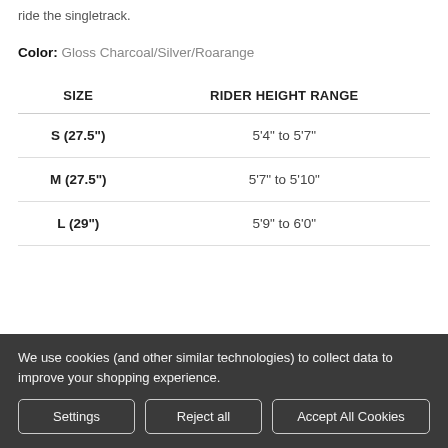ride the singletrack.
Color: Gloss Charcoal/Silver/Roarange
| SIZE | RIDER HEIGHT RANGE |
| --- | --- |
| S (27.5") | 5'4" to 5'7" |
| M (27.5") | 5'7" to 5'10" |
| L (29") | 5'9" to 6'0" |
We use cookies (and other similar technologies) to collect data to improve your shopping experience.
Settings | Reject all | Accept All Cookies